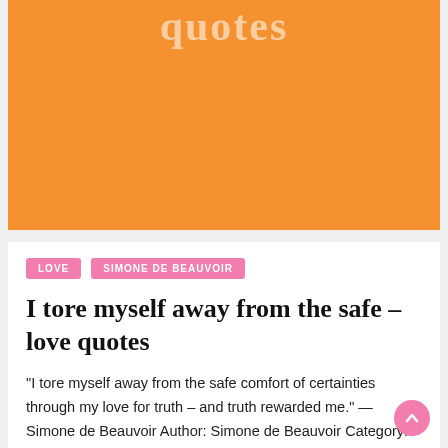[Figure (other): Orange banner header with faint white text reading 'quotes']
LOVE
SIMONE DE BEAUVOIR
I tore myself away from the safe – love quotes
"I tore myself away from the safe comfort of certainties through my love for truth – and truth rewarded me." — Simone de Beauvoir Author: Simone de Beauvoir Category: love Tags: love, Simone de Beauvoir    Express yourself with a memorable quote! Explore amazing famous love quotes trending right